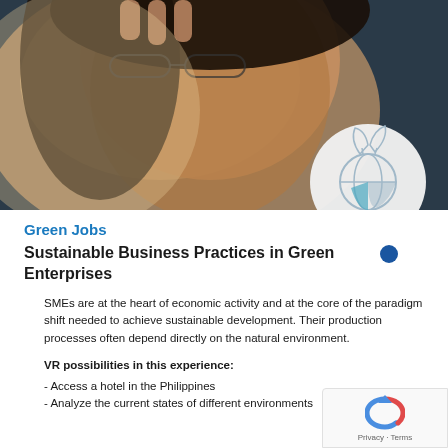[Figure (photo): Close-up photo of a person wearing glasses, looking thoughtful, with warm lighting. A globe-with-leaves sustainability icon appears in a white circle overlaid on the bottom-right of the photo.]
Green Jobs
Sustainable Business Practices in Green Enterprises
SMEs are at the heart of economic activity and at the core of the paradigm shift needed to achieve sustainable development. Their production processes often depend directly on the natural environment.
VR possibilities in this experience:
- Access a hotel in the Philippines
- Analyze the current states of different environments